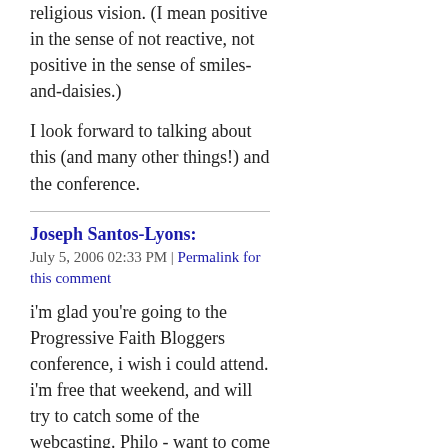religious vision. (I mean positive in the sense of not reactive, not positive in the sense of smiles-and-daisies.)
I look forward to talking about this (and many other things!) and the conference.
Joseph Santos-Lyons:
July 5, 2006 02:33 PM | Permalink for this comment
i'm glad you're going to the Progressive Faith Bloggers conference, i wish i could attend. i'm free that weekend, and will try to catch some of the webcasting. Philo - want to come to ConCentric to do a workshop, incorporating your own interests and your experiences at this event? joseph - ps - nice to see you headlining on the PFB website
Jaume: